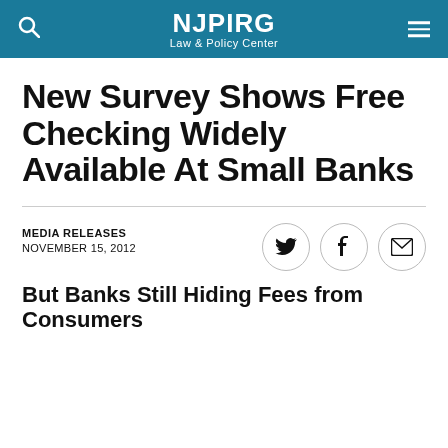NJPIRG Law & Policy Center
New Survey Shows Free Checking Widely Available At Small Banks
MEDIA RELEASES
NOVEMBER 15, 2012
But Banks Still Hiding Fees from Consumers